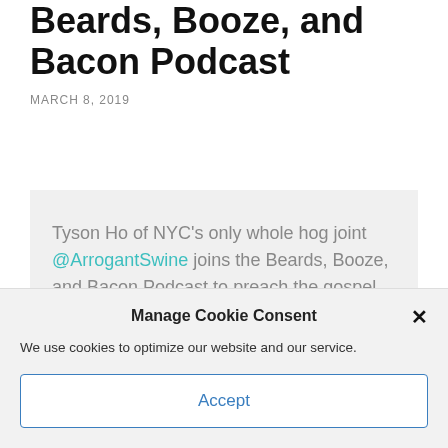Beards, Booze, and Bacon Podcast
MARCH 8, 2019
Tyson Ho of NYC's only whole hog joint @ArrogantSwine joins the Beards, Booze, and Bacon Podcast to preach the gospel of Carolina BBQ while also railing against so-called "vegan barbecue": https://t.co/t5ZFZIYr0F via
Manage Cookie Consent
We use cookies to optimize our website and our service.
Accept